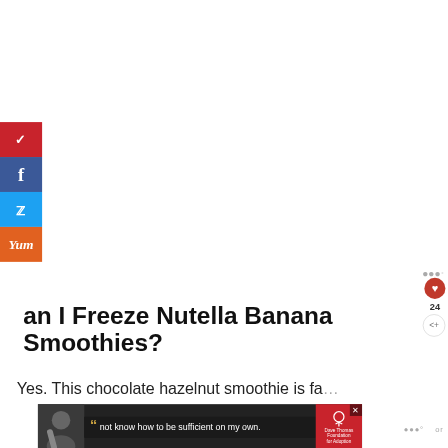[Figure (screenshot): Social media sharing sidebar with Pinterest (red), Facebook (blue), Twitter (cyan), and Yummly (orange) buttons on the left side of the page]
Can I Freeze Nutella Banana Smoothies?
Yes. This chocolate hazelnut smoothie is fa... home or
[Figure (screenshot): Advertisement banner showing a person with a quote 'not know how to be sufficient on my own.' with Dave Thomas Foundation for Adoption logo]